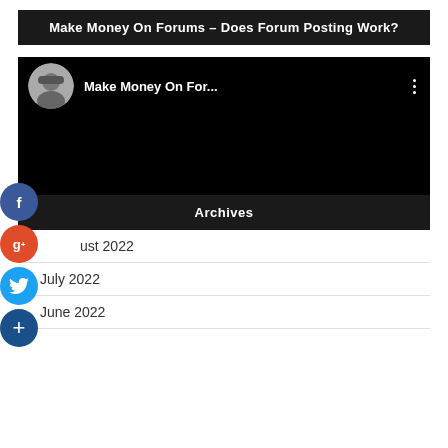Make Money On Forums – Does Forum Posting Work?
[Figure (screenshot): YouTube-style video thumbnail showing a man with a cap as avatar, title 'Make Money On For...' with three-dot menu icon, black video area]
Archives
August 2022
July 2022
June 2022